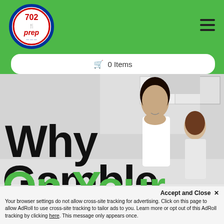[Figure (logo): 702 Prep logo — circular badge with red and blue design, fork and knife icon, text '702 prep']
[Figure (infographic): Green navigation header bar with 702 Prep logo on left, hamburger menu icon on right, and white rounded cart button showing '0 Items']
[Figure (photo): Greyscale kitchen scene showing a woman with dark hair smiling and a young girl, forming backdrop for hero text]
Why Gamble On Your
Accept and Close ✕
Your browser settings do not allow cross-site tracking for advertising. Click on this page to allow AdRoll to use cross-site tracking to tailor ads to you. Learn more or opt out of this AdRoll tracking by clicking here. This message only appears once.